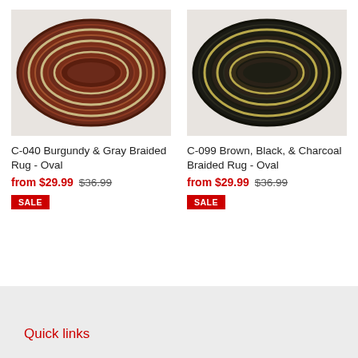[Figure (photo): Oval braided rug in burgundy and gray tones, viewed from above on a white wooden background]
[Figure (photo): Oval braided rug in brown, black, and charcoal tones, viewed from above on a white wooden background]
C-040 Burgundy & Gray Braided Rug - Oval
from $29.99  $36.99
SALE
C-099 Brown, Black, & Charcoal Braided Rug - Oval
from $29.99  $36.99
SALE
Quick links